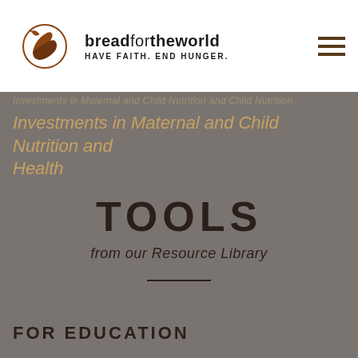bread for the world — HAVE FAITH. END HUNGER.
Investments in Maternal and Child Nutrition and Health
TOOLS
from our Resource Library
FOR EDUCATION